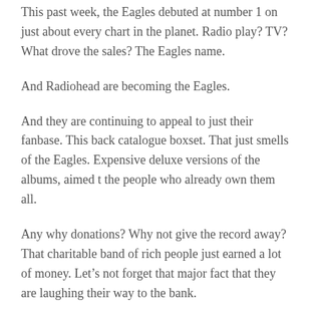This past week, the Eagles debuted at number 1 on just about every chart in the planet. Radio play? TV? What drove the sales? The Eagles name.
And Radiohead are becoming the Eagles.
And they are continuing to appeal to just their fanbase. This back catalogue boxset. That just smells of the Eagles. Expensive deluxe versions of the albums, aimed t the people who already own them all.
Any why donations? Why not give the record away? That charitable band of rich people just earned a lot of money. Let’s not forget that major fact that they are laughing their way to the bank.
You might even say with envy. That’s after Paralleled to all